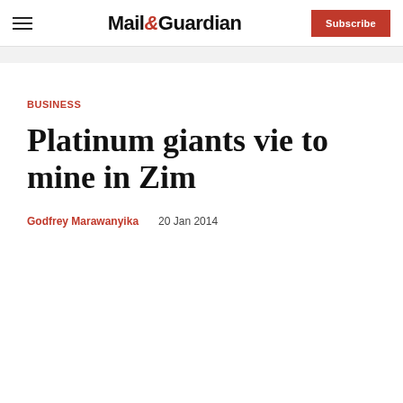Mail&Guardian | Subscribe
BUSINESS
Platinum giants vie to mine in Zim
Godfrey Marawanyika   20 Jan 2014